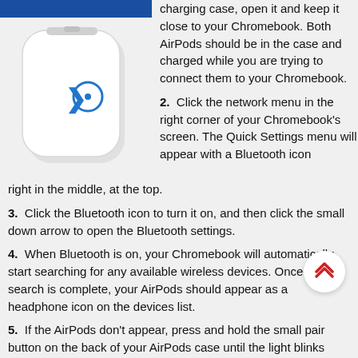[Figure (photo): AirPods charging case (white, closed) with a blue Bluetooth-like icon on front, shown against light gray background. A blue bar appears at the top of the image area.]
charging case, open it and keep it close to your Chromebook. Both AirPods should be in the case and charged while you are trying to connect them to your Chromebook.
2.  Click the network menu in the right corner of your Chromebook's screen. The Quick Settings menu will appear with a Bluetooth icon right in the middle, at the top.
3.  Click the Bluetooth icon to turn it on, and then click the small down arrow to open the Bluetooth settings.
4.  When Bluetooth is on, your Chromebook will automatically start searching for any available wireless devices. Once the search is complete, your AirPods should appear as a headphone icon on the devices list.
5.  If the AirPods don't appear, press and hold the small pair button on the back of your AirPods case until the light blinks white.